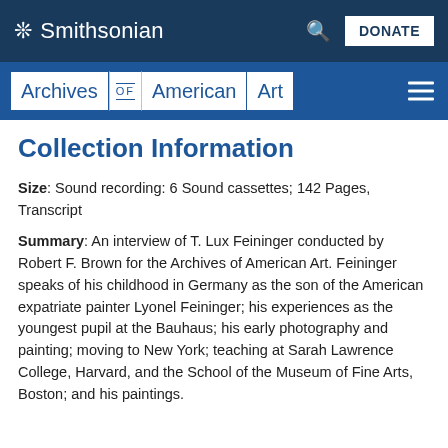Smithsonian
Archives of American Art
Collection Information
Size: Sound recording: 6 Sound cassettes; 142 Pages, Transcript
Summary: An interview of T. Lux Feininger conducted by Robert F. Brown for the Archives of American Art. Feininger speaks of his childhood in Germany as the son of the American expatriate painter Lyonel Feininger; his experiences as the youngest pupil at the Bauhaus; his early photography and painting; moving to New York; teaching at Sarah Lawrence College, Harvard, and the School of the Museum of Fine Arts, Boston; and his paintings.